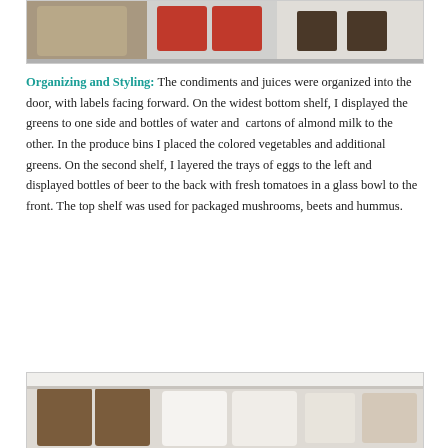[Figure (photo): Inside of a refrigerator showing packaged foods and bottles on shelves, top portion visible]
Organizing and Styling: The condiments and juices were organized into the door, with labels facing forward. On the widest bottom shelf, I displayed the greens to one side and bottles of water and cartons of almond milk to the other. In the produce bins I placed the colored vegetables and additional greens. On the second shelf, I layered the trays of eggs to the left and displayed bottles of beer to the back with fresh tomatoes in a glass bowl to the front. The top shelf was used for packaged mushrooms, beets and hummus.
[Figure (photo): Inside of a refrigerator showing packaged foods in containers on a shelf, bottom portion visible]